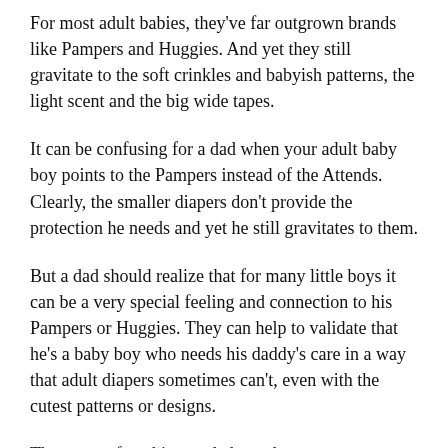For most adult babies, they've far outgrown brands like Pampers and Huggies. And yet they still gravitate to the soft crinkles and babyish patterns, the light scent and the big wide tapes.
It can be confusing for a dad when your adult baby boy points to the Pampers instead of the Attends. Clearly, the smaller diapers don't provide the protection he needs and yet he still gravitates to them.
But a dad should realize that for many little boys it can be a very special feeling and connection to his Pampers or Huggies. They can help to validate that he's a baby boy who needs his daddy's care in a way that adult diapers sometimes can't, even with the cutest patterns or designs.
There are a few things a dad can do: